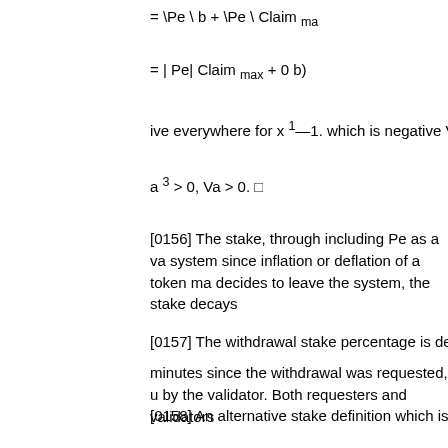ive everywhere for x ¹—1. which is negative Vx
a ³ > 0, Va > 0. □
[0156] The stake, through including Pe as a va system since inflation or deflation of a token ma decides to leave the system, the stake decays
[0157] The withdrawal stake percentage is defi
minutes since the withdrawal was requested, u by the validator. Both requesters and validators
[0158] An alternative stake definition which is n
[0159] A stake function Stakemin : R R is feasib
Stake min (O) > b, to ensure there is a base am
lim Stake min (x ) = 0 ( Stake max ) where Stake
factor modulating the maximum amount of stak
. In other words, the minimum stake
grows with diminishing additional costs to the v
[0160] A new staking function is constructed wi